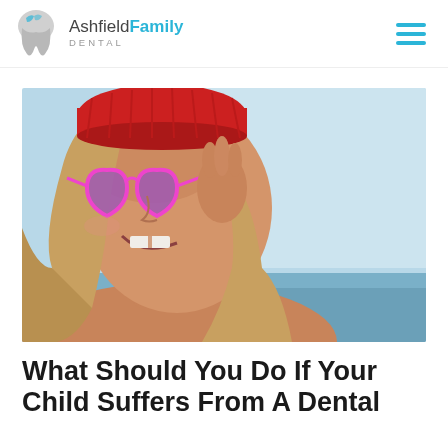Ashfield Family Dental
[Figure (photo): A smiling young girl wearing pink heart-shaped sunglasses and a red knit hat, laughing outdoors near the beach with blue sky in the background. She has a gap in her teeth.]
What Should You Do If Your Child Suffers From A Dental...